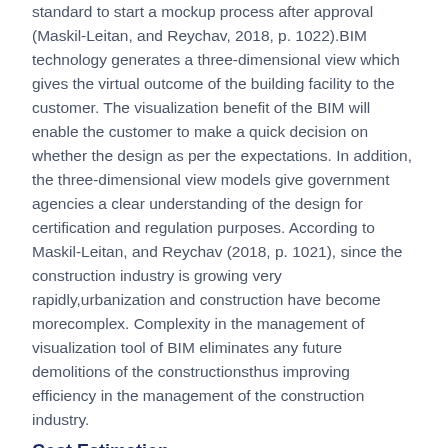standard to start a mockup process after approval (Maskil-Leitan, and Reychav, 2018, p. 1022).BIM technology generates a three-dimensional view which gives the virtual outcome of the building facility to the customer. The visualization benefit of the BIM will enable the customer to make a quick decision on whether the design as per the expectations. In addition, the three-dimensional view models give government agencies a clear understanding of the design for certification and regulation purposes. According to Maskil-Leitan, and Reychav (2018, p. 1021), since the construction industry is growing very rapidly,urbanization and construction have become morecomplex. Complexity in the management of visualization tool of BIM eliminates any future demolitions of the constructionsthus improving efficiency in the management of the construction industry.
Cost Estimation
One of the most important parts of construction projects is budget management. It is critical from the design process to the bidding phase. The BIM tool is very important in cost estimations in terms of materials and other requirements in completingvarious project activities. BIM modelling